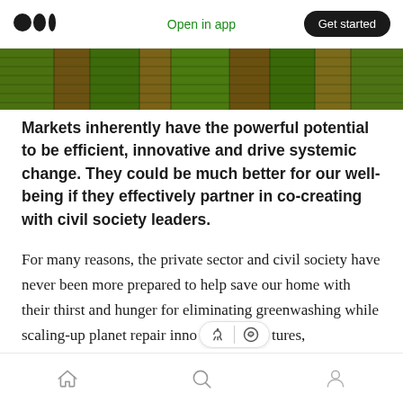Open in app | Get started
[Figure (photo): Aerial view of green and brown agricultural fields from above]
Markets inherently have the powerful potential to be efficient, innovative and drive systemic change. They could be much better for our well-being if they effectively partner in co-creating with civil society leaders.
For many reasons, the private sector and civil society have never been more prepared to help save our home with their thirst and hunger for eliminating greenwashing while scaling-up planet repair inno[toolbar]tures, mechanisms and other tools. They have the
Home | Search | Profile